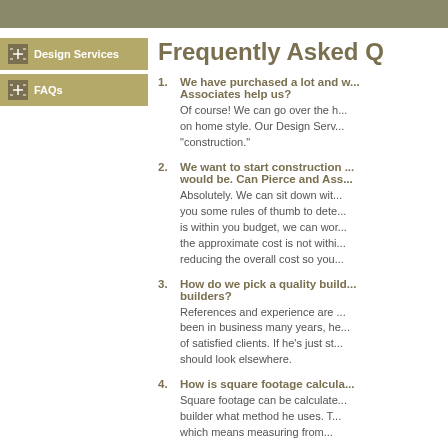Frequently Asked Q...
1. We have purchased a lot and w... Associates help us?
Of course! We can go over the h... on home style. Our Design Serv... "construction."
2. We want to start construction ... would be. Can Pierce and Ass...
Absolutely. We can sit down wit... you some rules of thumb to dete... is within you budget, we can wor... the approximate cost is not withi... reducing the overall cost so you...
3. How do we pick a quality build... builders?
References and experience are ... been in business many years, he... of satisfied clients. If he's just st... should look elsewhere.
4. How is square footage calcula...
Square footage can be calculate... builder what method he uses. T... which means measuring from...